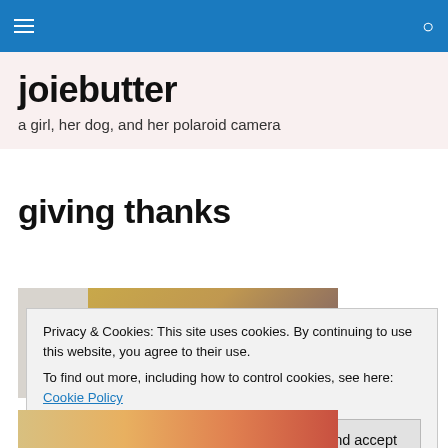joiebutter navigation bar
joiebutter
a girl, her dog, and her polaroid camera
giving thanks
[Figure (photo): Two photos side by side: a white/grey abstract surface on the left and a tan/brown surface on the right]
Privacy & Cookies: This site uses cookies. By continuing to use this website, you agree to their use.
To find out more, including how to control cookies, see here: Cookie Policy
[Figure (photo): Bottom strip of a colorful photo]